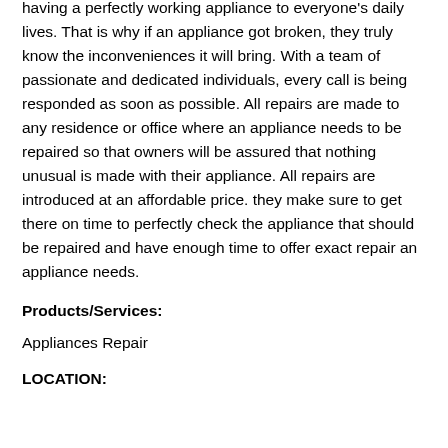having a perfectly working appliance to everyone's daily lives. That is why if an appliance got broken, they truly know the inconveniences it will bring. With a team of passionate and dedicated individuals, every call is being responded as soon as possible. All repairs are made to any residence or office where an appliance needs to be repaired so that owners will be assured that nothing unusual is made with their appliance. All repairs are introduced at an affordable price. they make sure to get there on time to perfectly check the appliance that should be repaired and have enough time to offer exact repair an appliance needs.
Products/Services:
Appliances Repair
LOCATION: